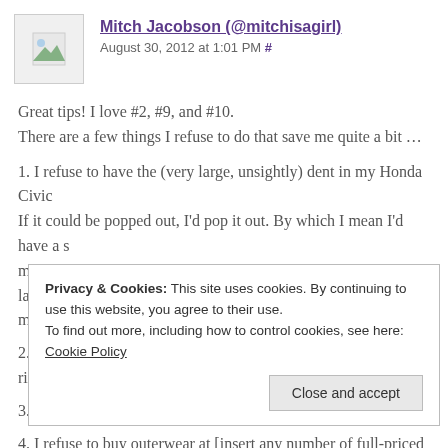Mitch Jacobson (@mitchisagirl)
August 30, 2012 at 1:01 PM #
Great tips! I love #2, #9, and #10.
There are a few things I refuse to do that save me quite a bit …
1. I refuse to have the (very large, unsightly) dent in my Honda Civic repaired. If it could be popped out, I'd pop it out. By which I mean I'd have a shop man pop it out. Alas, it cannot be popped out and so the (very large, u… my bumper remains … un-popped.
2. I refuse to upgrade my first generation HDTV tube – that's right, tu…
3. I refuse to buy underwear at Victoria's Secret.
4. I refuse to buy outerwear at [insert any number of full-priced retail…
Privacy & Cookies: This site uses cookies. By continuing to use this website, you agree to their use.
To find out more, including how to control cookies, see here: Cookie Policy
Close and accept